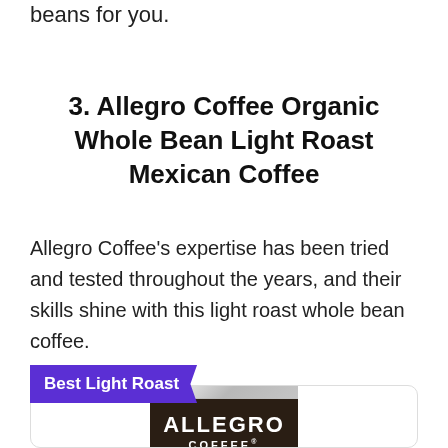beans for you.
3. Allegro Coffee Organic Whole Bean Light Roast Mexican Coffee
Allegro Coffee's expertise has been tried and tested throughout the years, and their skills shine with this light roast whole bean coffee.
Best Light Roast
[Figure (photo): Allegro Coffee bag — silver top portion and dark brown bottom with 'ALLEGRO COFFEE' branding in white, 'LIGHT ROAST' text below.]